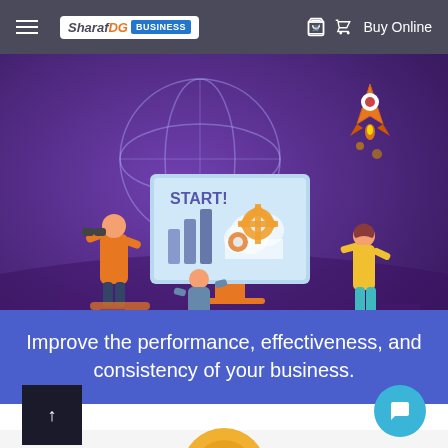Sharaf DG BUSINESS | Buy Online
[Figure (illustration): Business illustration showing people working with a computer monitor displaying 'START!' with charts and gears, a globe, a rocket launching, set on a purple/violet background.]
Improve the performance, effectiveness, and consistency of your business.